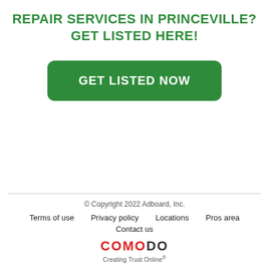REPAIR SERVICES IN PRINCEVILLE? GET LISTED HERE!
[Figure (other): Green rounded button with white text reading 'GET LISTED NOW']
© Copyright 2022 Adboard, Inc. | Terms of use | Privacy policy | Locations | Pros area | Contact us | COMODO Creating Trust Online®